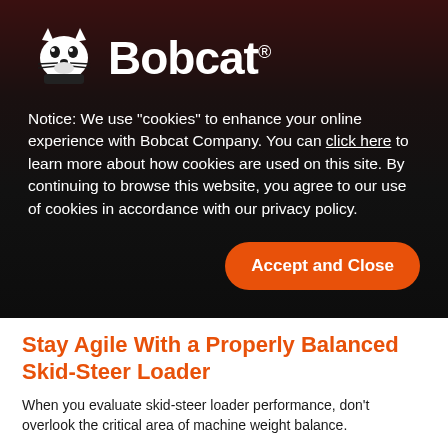[Figure (logo): Bobcat company logo with bobcat mascot icon and Bobcat wordmark in white on dark background]
Notice: We use “cookies” to enhance your online experience with Bobcat Company. You can click here to learn more about how cookies are used on this site. By continuing to browse this website, you agree to our use of cookies in accordance with our privacy policy.
Accept and Close
Stay Agile With a Properly Balanced Skid-Steer Loader
When you evaluate skid-steer loader performance, don’t overlook the critical area of machine weight balance.